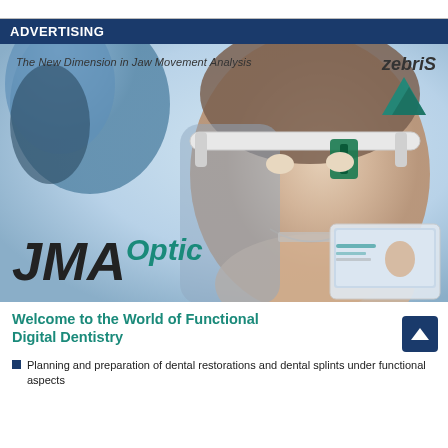ADVERTISING
[Figure (photo): Advertisement for zebris JMA Optic jaw movement analysis device, showing a woman in a dental chair wearing a head-mounted optical tracking device, with the JMA Optic product name overlaid, and a tablet computer in the lower right.]
Welcome to the World of Functional Digital Dentistry
Planning and preparation of dental restorations and dental splints under functional aspects